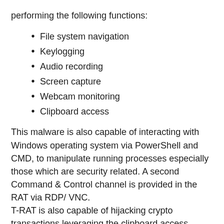performing the following functions:
File system navigation
Keylogging
Audio recording
Screen capture
Webcam monitoring
Clipboard access
This malware is also capable of interacting with Windows operating system via PowerShell and CMD, to manipulate running processes especially those which are security related. A second Command & Control channel is provided in the RAT via RDP/ VNC. T-RAT is also capable of hijacking crypto transactions leveraging the clipboard access feature, to target payment solutions like:
Qiwi
WMR
WMZ
WME